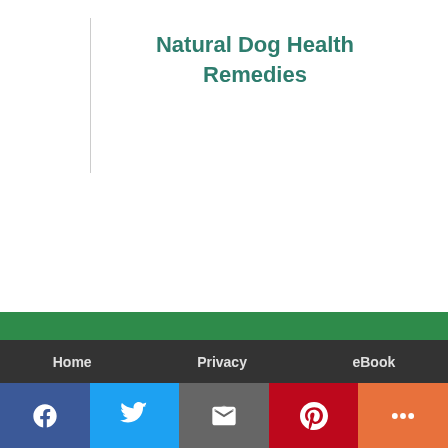Natural Dog Health Remedies
Home  Privacy  eBook
[Figure (infographic): Social media share bar with Facebook, Twitter, Email, Pinterest, and More buttons]